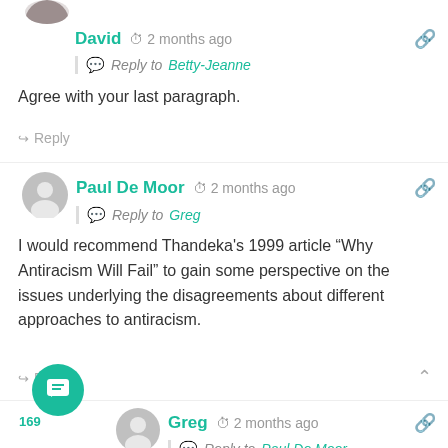[Figure (photo): Partial avatar image at top of page, cropped]
David  2 months ago
Reply to Betty-Jeanne
Agree with your last paragraph.
Reply
[Figure (illustration): Generic person avatar icon (gray circle with person silhouette)]
Paul De Moor  2 months ago
Reply to Greg
I would recommend Thandeka's 1999 article “Why Antiracism Will Fail” to gain some perspective on the issues underlying the disagreements about different approaches to antiracism.
Reply
[Figure (illustration): Generic person avatar icon (gray circle with person silhouette)]
Greg  2 months ago
Reply to Paul De Moor